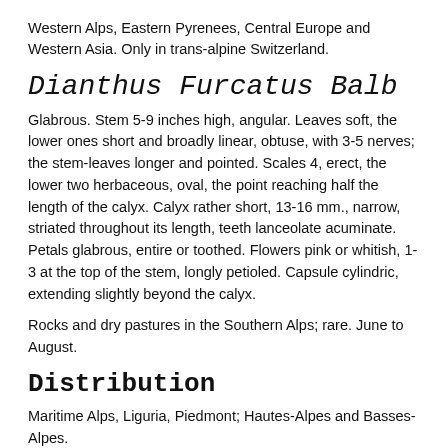Western Alps, Eastern Pyrenees, Central Europe and Western Asia. Only in trans-alpine Switzerland.
Dianthus Furcatus Balb
Glabrous. Stem 5-9 inches high, angular. Leaves soft, the lower ones short and broadly linear, obtuse, with 3-5 nerves; the stem-leaves longer and pointed. Scales 4, erect, the lower two herbaceous, oval, the point reaching half the length of the calyx. Calyx rather short, 13-16 mm., narrow, striated throughout its length, teeth lanceolate acuminate. Petals glabrous, entire or toothed. Flowers pink or whitish, 1-3 at the top of the stem, longly petioled. Capsule cylindric, extending slightly beyond the calyx.
Rocks and dry pastures in the Southern Alps; rare. June to August.
Distribution
Maritime Alps, Liguria, Piedmont; Hautes-Alpes and Basses-Alpes.